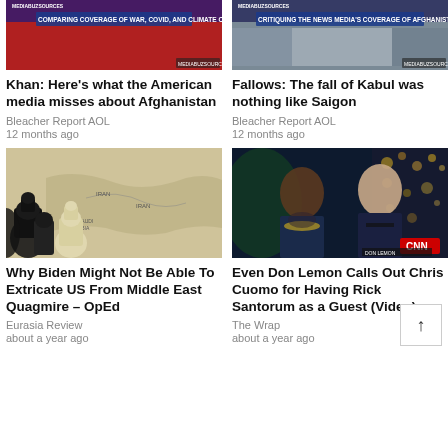[Figure (screenshot): Media news thumbnail with red background, text: COMPARING COVERAGE OF WAR, COVID, AND CLIMATE CHANGE]
Khan: Here’s what the American media misses about Afghanistan
Bleacher Report AOL
12 months ago
[Figure (screenshot): Media news thumbnail with grey/blue background, text: CRITIQUING THE NEWS MEDIA'S COVERAGE OF AFGHANISTAN]
Fallows: The fall of Kabul was nothing like Saigon
Bleacher Report AOL
12 months ago
[Figure (photo): Chess pieces on a Middle East map]
Why Biden Might Not Be Able To Extricate US From Middle East Quagmire – OpEd
Eurasia Review
about a year ago
[Figure (screenshot): CNN news screenshot showing Don Lemon and Chris Cuomo]
Even Don Lemon Calls Out Chris Cuomo for Having Rick Santorum as a Guest (Video)
The Wrap
about a year ago